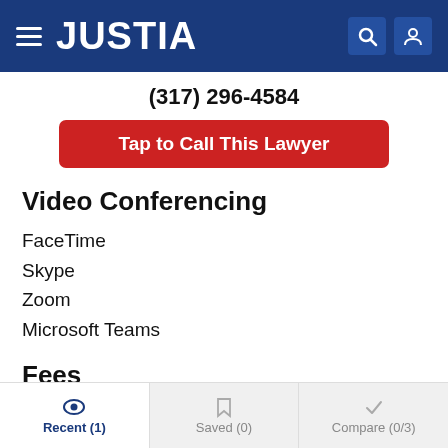JUSTIA
(317) 296-4584
Tap to Call This Lawyer
Video Conferencing
FaceTime
Skype
Zoom
Microsoft Teams
Fees
Rates, Retainers and Additional Information
Recent (1)  Saved (0)  Compare (0/3)